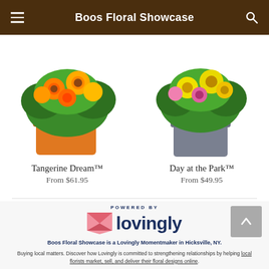Boos Floral Showcase
Tangerine Dream™
From $61.95
Day at the Park™
From $49.95
[Figure (logo): Lovingly logo with pink heart icon and dark navy text reading 'lovingly', with 'POWERED BY' above]
Boos Floral Showcase is a Lovingly Momentmaker in Hicksville, NY.
Buying local matters. Discover how Lovingly is committed to strengthening relationships by helping local florists market, sell, and deliver their floral designs online.